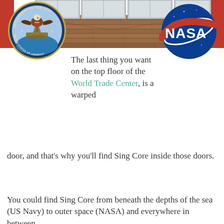[Figure (photo): Interior photo showing a wooden floor with metal/stainless steel doors in the background and red walls on the sides]
[Figure (logo): Department of the Navy seal - circular seal with eagle and ship, text reading DEPARTMENT OF THE NAVY and UNITED STATES OF AMERICA]
[Figure (logo): NASA meatball logo - blue circle with NASA text and red swoosh on starfield]
The last thing you want on the top floor of the World Trade Center, is a warped door, and that’s why you’ll find Sing Core inside those doors.
You could find Sing Core from beneath the depths of the sea (US Navy) to outer space (NASA) and everywhere in between